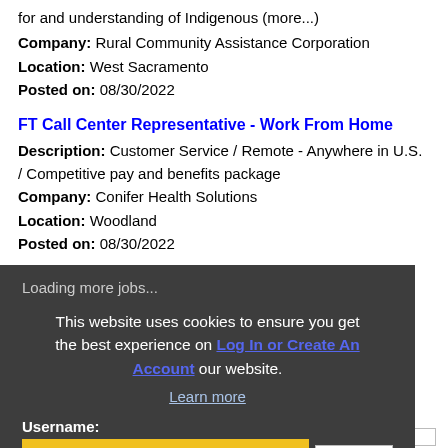for and understanding of Indigenous (more...)
Company: Rural Community Assistance Corporation
Location: West Sacramento
Posted on: 08/30/2022
FT Call Center Representative - Work From Home
Description: Customer Service / Remote - Anywhere in U.S. / Competitive pay and benefits package
Company: Conifer Health Solutions
Location: Woodland
Posted on: 08/30/2022
Loading more jobs...
This website uses cookies to ensure you get the best experience on our website.
Log In or Create An Account
Learn more
Username:
Got it!
Password: